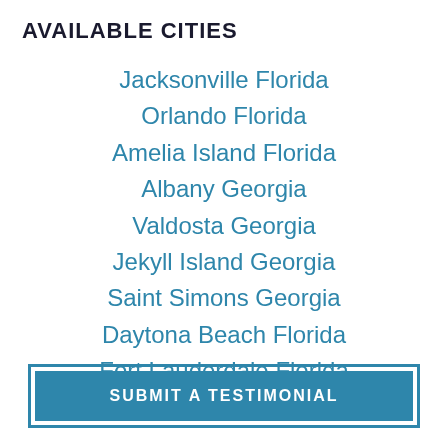AVAILABLE CITIES
Jacksonville Florida
Orlando Florida
Amelia Island Florida
Albany Georgia
Valdosta Georgia
Jekyll Island Georgia
Saint Simons Georgia
Daytona Beach Florida
Fort Lauderdale Florida
SUBMIT A TESTIMONIAL